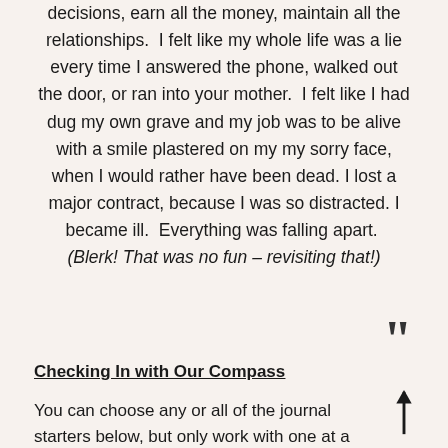decisions, earn all the money, maintain all the relationships. I felt like my whole life was a lie every time I answered the phone, walked out the door, or ran into your mother. I felt like I had dug my own grave and my job was to be alive with a smile plastered on my my sorry face, when I would rather have been dead. I lost a major contract, because I was so distracted. I became ill. Everything was falling apart. (Blerk! That was no fun – revisiting that!)
Checking In with Our Compass
You can choose any or all of the journal starters below, but only work with one at a time. To do this part of the